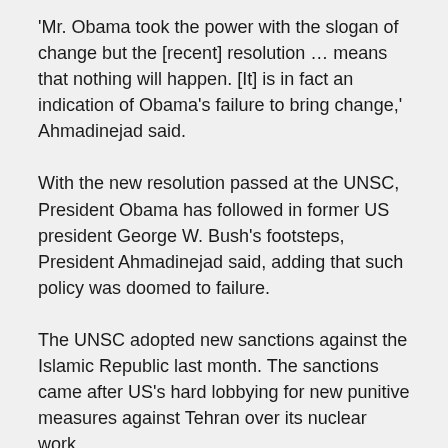'Mr. Obama took the power with the slogan of change but the [recent] resolution … means that nothing will happen. [It] is in fact an indication of Obama's failure to bring change,' Ahmadinejad said.
With the new resolution passed at the UNSC, President Obama has followed in former US president George W. Bush's footsteps, President Ahmadinejad said, adding that such policy was doomed to failure.
The UNSC adopted new sanctions against the Islamic Republic last month. The sanctions came after US's hard lobbying for new punitive measures against Tehran over its nuclear work.
The Iranian chief executive blamed Washington for the ratification of the recent sanctions, saying other nations were pushed by the US to approve the UN resolution.
'We consider the United States as responsible for the resolution, because the Security Council is under US influence,' President